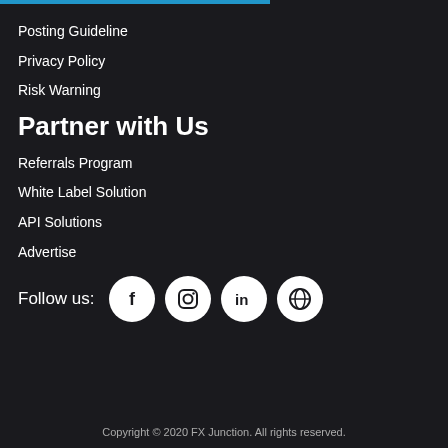Posting Guideline
Privacy Policy
Risk Warning
Partner with Us
Referrals Program
White Label Solution
API Solutions
Advertise
Follow us:
[Figure (illustration): Social media icons: Facebook, Instagram, LinkedIn, WordPress]
Copyright © 2020 FX Junction. All rights reserved.